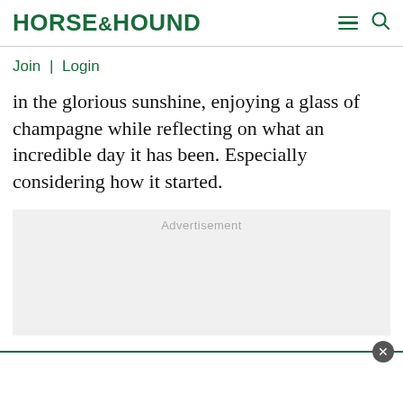HORSE&HOUND
Join | Login
in the glorious sunshine, enjoying a glass of champagne while reflecting on what an incredible day it has been. Especially considering how it started.
[Figure (other): Advertisement placeholder box — grey rectangle with 'Advertisement' label in light grey text]
[Figure (other): White bottom bar with green top border and a grey close (x) button]